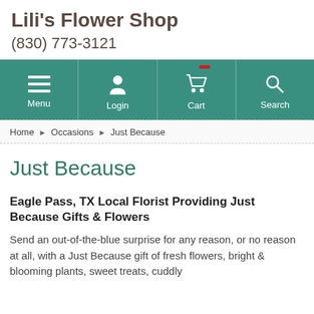Lili's Flower Shop
(830) 773-3121
[Figure (screenshot): Navigation bar with teal background containing Menu, Login, Cart, and Search icons with labels]
Home › Occasions › Just Because
Just Because
Eagle Pass, TX Local Florist Providing Just Because Gifts & Flowers
Send an out-of-the-blue surprise for any reason, or no reason at all, with a Just Because gift of fresh flowers, bright & blooming plants, sweet treats, cuddly